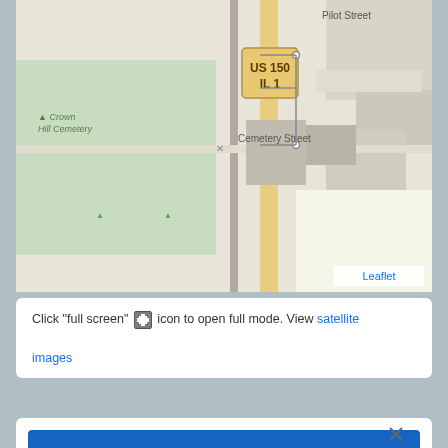[Figure (map): Street map showing Crown Hill Cemetery, Cemetery Street, Pilot Street, and highway signs US 150 / IL 1. Leaflet attribution shown at bottom right.]
Click "full screen" [icon] icon to open full mode. View satellite images
[Figure (screenshot): Advertisement banner for Ruby Tuesday with blue background and white text reading 'Ruby Tuesday'. Close (X) and play (triangle) buttons at top right.]
[Figure (screenshot): Advertisement for Walgreens Photo showing red Walgreens logo, text 'Shop Now For Essentials' and 'Walgreens Photo', navigation diamond icon. Play and close buttons at bottom left.]